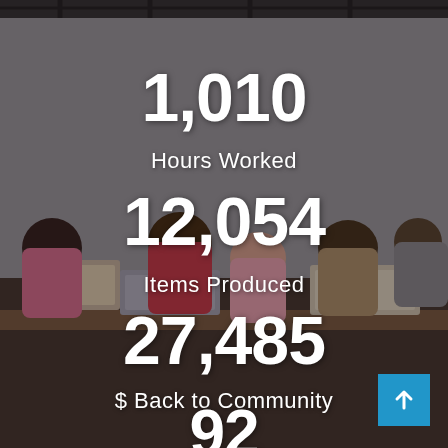[Figure (photo): People working at long tables sorting and packing canned goods and bags in a warehouse/community event setting.]
1,010
Hours Worked
12,054
Items Produced
27,485
$ Back to Community
92